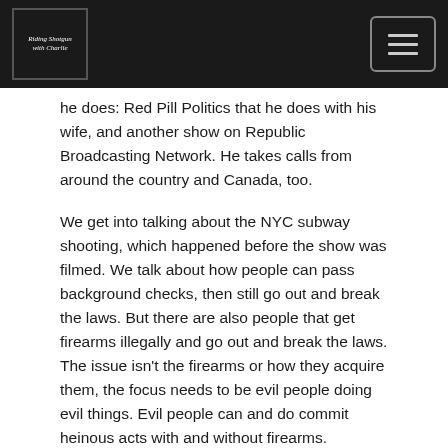Riding Shotgun with Charlie (logo) | Navigation menu
he does: Red Pill Politics that he does with his wife, and another show on Republic Broadcasting Network. He takes calls from around the country and Canada, too.
We get into talking about the NYC subway shooting, which happened before the show was filmed. We talk about how people can pass background checks, then still go out and break the laws. But there are also people that get firearms illegally and go out and break the laws. The issue isn't the firearms or how they acquire them, the focus needs to be evil people doing evil things. Evil people can and do commit heinous acts with and without firearms.
We talk about the gun culture in western Massachusetts and the closet gun owners that aren't just Republicans, they're Democrats, too. I bring up that one passenger, DeeDee Edmondson (RSWC #023) had an easier time coming out as a lesbian than the did coming out as a gun owner.